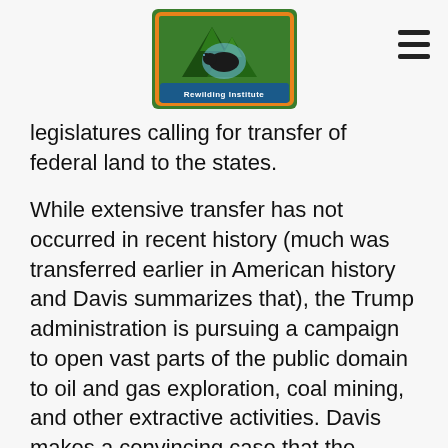[Figure (logo): Rewilding Institute logo: green mountain/tree triangles with an animal silhouette, orange decorative border, text 'Rewilding Institute' on blue banner]
legislatures calling for transfer of federal land to the states.
While extensive transfer has not occurred in recent history (much was transferred earlier in American history and Davis summarizes that), the Trump administration is pursuing a campaign to open vast parts of the public domain to oil and gas exploration, coal mining, and other extractive activities. Davis makes a convincing case that the campaign to transfer the wealth of the public lands to private interests has been and will be a long game, one aimed ultimately at getting as many resources as possible from public